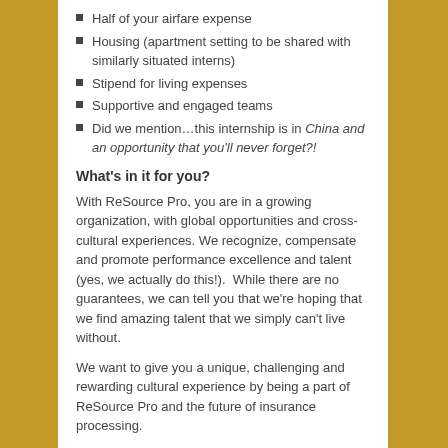Half of your airfare expense
Housing (apartment setting to be shared with similarly situated interns)
Stipend for living expenses
Supportive and engaged teams
Did we mention…this internship is in China and an opportunity that you'll never forget?!
What's in it for you?
With ReSource Pro, you are in a growing organization, with global opportunities and cross-cultural experiences. We recognize, compensate and promote performance excellence and talent (yes, we actually do this!).  While there are no guarantees, we can tell you that we're hoping that we find amazing talent that we simply can't live without.
We want to give you a unique, challenging and rewarding cultural experience by being a part of ReSource Pro and the future of insurance processing.